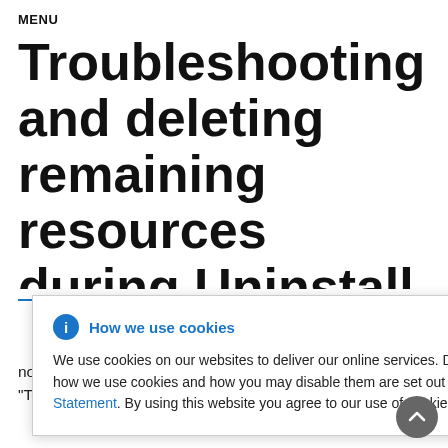MENU
Troubleshooting and deleting remaining resources during Uninstall
rces
lizer to d all the you need If you do
[Figure (infographic): Cookie consent popup banner with info icon, title 'How we use cookies', close button (×), and body text: 'We use cookies on our websites to deliver our online services. Details about how we use cookies and how you may disable them are set out in our Privacy Statement. By using this website you agree to our use of cookies.']
not do so, the resources remain in the "Terminating" state even after several